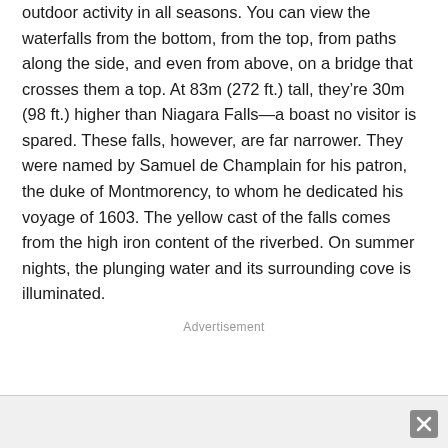outdoor activity in all seasons. You can view the waterfalls from the bottom, from the top, from paths along the side, and even from above, on a bridge that crosses them a top. At 83m (272 ft.) tall, they're 30m (98 ft.) higher than Niagara Falls—a boast no visitor is spared. These falls, however, are far narrower. They were named by Samuel de Champlain for his patron, the duke of Montmorency, to whom he dedicated his voyage of 1603. The yellow cast of the falls comes from the high iron content of the riverbed. On summer nights, the plunging water and its surrounding cove is illuminated.
Advertisement